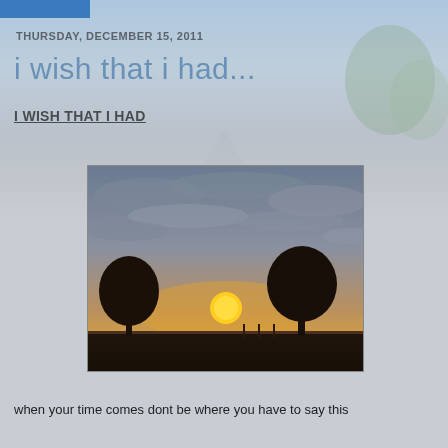THURSDAY, DECEMBER 15, 2011
i wish that i had...
I WISH THAT I HAD
[Figure (photo): Sunset landscape photo showing silhouettes of two trees against a dramatic sky with golden sun setting on the horizon, wispy clouds above]
when your time comes dont be where you have to say this